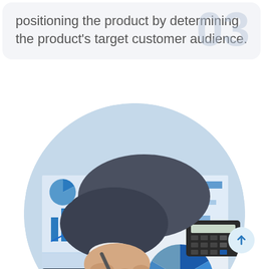positioning the product by determining the product's target customer audience.
[Figure (photo): Circular cropped photo of a business person's hand holding a pen over financial charts and reports with blue bar charts, line charts, pie charts, and a calculator visible in the background on a desk.]